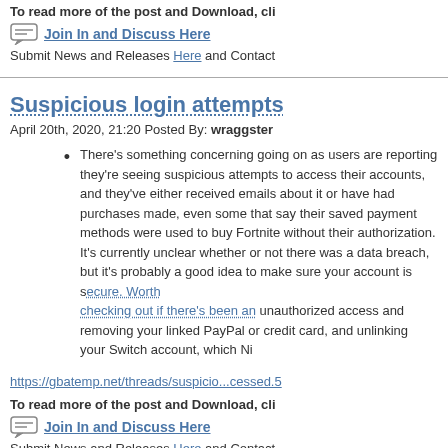To read more of the post and Download, cli
Join In and Discuss Here
Submit News and Releases Here and Contact
Suspicious login attempts
April 20th, 2020, 21:20 Posted By: wraggster
There's something concerning going on as users are reporting they're seeing suspicious attempts to access their accounts, and they've either received emails about it or have had purchases made, even some that say their saved payment methods were used to buy Fortnite without their authorization. It's currently unclear whether or not there was a data breach, but it's probably a good idea to make sure your account is secure. Worth checking out if there's been an unauthorized access and removing your linked PayPal or credit card, and unlinking your Switch account, which Ni
https://gbatemp.net/threads/suspicio...cessed.5
To read more of the post and Download, cli
Join In and Discuss Here
Submit News and Releases Here and Contact
Swiss r827